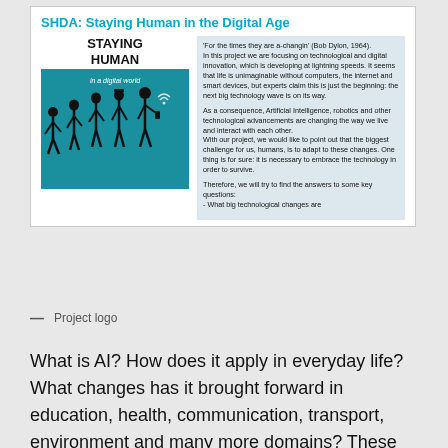SHDA: Staying Human in the Digital Age
[Figure (illustration): Book cover showing human evolution silhouettes (from ape to modern human with smartphone) on teal background, titled 'STAYING HUMAN in a digital world']
'For the times they are a-changin' (Bob Dylon, 1964). In this project we are focusing on technological and digital innovation, which is developing at lightning speeds. It seems that life is unimaginable without computers, the internet and smart devices, but experts claim this is just the beginning: the next big technology wave is on its way.

As a consequence, Artificial Intelligence, robotics and other technological advancements are changing the way we live and interact with each other. With our project, we would like to point out that the biggest challenge for us, humans, is to adapt to these changes. One thing is for sure: it is necessary to embrace the technology in order to survive.

Therefore, we will try to find the answers to some key questions:
- What big technological changes are
— Project logo
What is AI? How does it apply in everyday life? What changes has it brought forward in education, health, communication, transport, environment and many more domains? These were our main driving questions, which we addressed during our collaborative work in the time